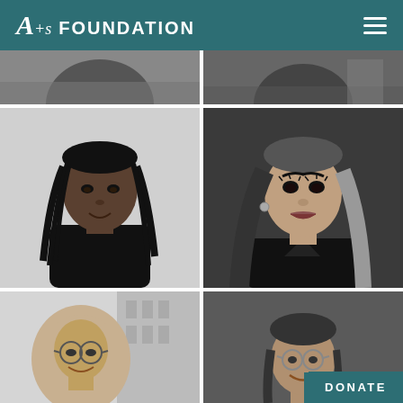A+s FOUNDATION
[Figure (photo): Cropped top portion of two portrait photos (partially visible, grayscale)]
[Figure (photo): Black and white portrait of a young woman with braids wearing a turtleneck]
[Figure (photo): Black and white portrait of a young woman with long hair and makeup]
[Figure (photo): Black and white portrait of a young woman wearing a hijab and glasses, smiling]
[Figure (photo): Black and white portrait of a young woman wearing glasses and smiling, with DONATE button overlay]
DONATE